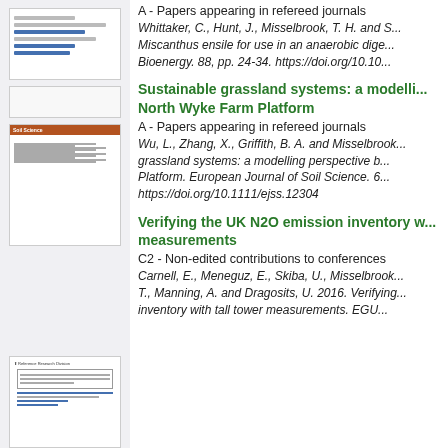[Figure (screenshot): Thumbnail of a document page with blue underlined links]
A - Papers appearing in refereed journals
Whittaker, C., Hunt, J., Misselbrook, T. H. and S... Miscanthus ensile for use in an anaerobic dige... Bioenergy. 88, pp. 24-34. https://doi.org/10.10...
[Figure (screenshot): Thumbnail of Soil Science journal article page with orange header bar]
Sustainable grassland systems: a modelling perspective based on the North Wyke Farm Platform
A - Papers appearing in refereed journals
Wu, L., Zhang, X., Griffith, B. A. and Misselbrook... grassland systems: a modelling perspective b... Platform. European Journal of Soil Science. 6... https://doi.org/10.1111/ejss.12304
[Figure (screenshot): Thumbnail of a reference/report document page]
Verifying the UK N2O emission inventory with tall tower measurements
C2 - Non-edited contributions to conferences
Carnell, E., Meneguz, E., Skiba, U., Misselbrook... T., Manning, A. and Dragosits, U. 2016. Verifying... inventory with tall tower measurements. EGU...
[Figure (screenshot): Small thumbnail of another document page]